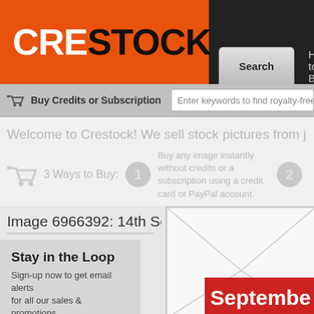[Figure (logo): Crestock logo: CRE in white on orange background, STOCK in black bold text]
Search | How to Buy | Ho...
Buy Credits or Subscription
Enter keywords to find royalty-free phot...
Welcome to Crestock! We sell stock pictures from just $
3 Ways to Buy:   1  Buy any image instantly without credits or a subscription using a credit card or PayPal account.   2
Image 6966392: 14th Sept
Stay in the Loop
Sign-up now to get email alerts for all our sales & promotions
Enter your email
Subscribe
[Figure (screenshot): Image preview showing envelope and September red banner]